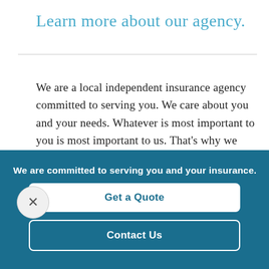Learn more about our agency.
We are a local independent insurance agency committed to serving you. We care about you and your needs. Whatever is most important to you is most important to us. That’s why we work with you one-on-one to help you find insurance coverage that’s right for
We are committed to serving you and your insurance.
Get a Quote
Contact Us